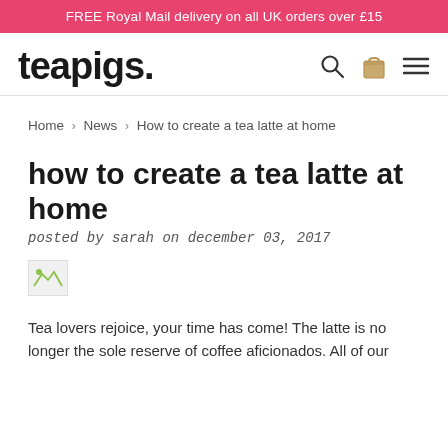FREE Royal Mail delivery on all UK orders over £15
[Figure (logo): teapigs. logo in bold black sans-serif font with search, bag, and menu icons on the right]
Home > News > How to create a tea latte at home
how to create a tea latte at home
posted by sarah on december 03, 2017
[Figure (photo): Broken image placeholder]
Tea lovers rejoice, your time has come! The latte is no longer the sole reserve of coffee aficionados. All of our